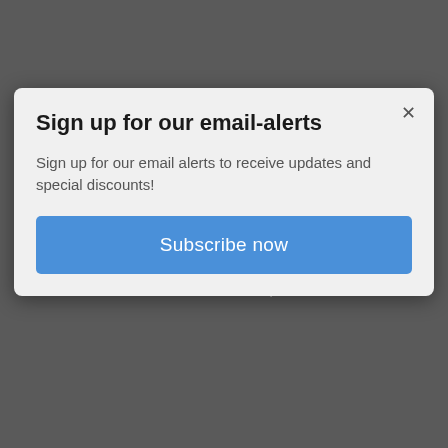Feb. 8th - 9th 2023, Berlin
Sign up for our email-alerts
Sign up for our email alerts to receive updates and special discounts!
[Figure (screenshot): Blue 'Subscribe now' button]